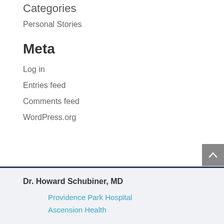Categories
Personal Stories
Meta
Log in
Entries feed
Comments feed
WordPress.org
Dr. Howard Schubiner, MD
Providence Park Hospital
Ascension Health